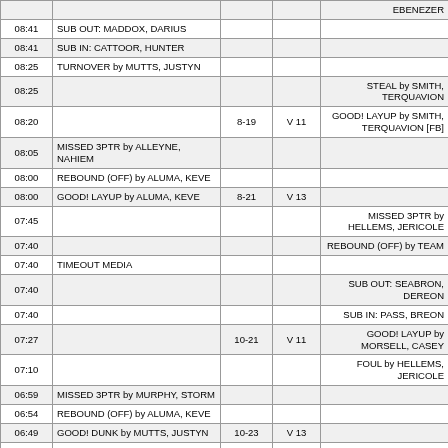| Time | Home Team | Score | Margin | Away Team |
| --- | --- | --- | --- | --- |
|  |  |  |  | EBENEZER |
| 08:41 | SUB OUT: MADDOX, DARIUS |  |  |  |
| 08:41 | SUB IN: CATTOOR, HUNTER |  |  |  |
| 08:25 | TURNOVER by MUTTS, JUSTYN |  |  |  |
| 08:25 |  |  |  | STEAL by SMITH, TERQUAVION |
| 08:20 |  | 8-19 | V 11 | GOOD! LAYUP by SMITH, TERQUAVION [FB] |
| 08:05 | MISSED 3PTR by ALLEYNE, NAHIEM |  |  |  |
| 08:00 | REBOUND (OFF) by ALUMA, KEVE |  |  |  |
| 08:00 | GOOD! LAYUP by ALUMA, KEVE | 8-21 | V 13 |  |
| 07:45 |  |  |  | MISSED 3PTR by HELLEMS, JERICOLE |
| 07:40 |  |  |  | REBOUND (OFF) by TEAM |
| 07:40 | TIMEOUT MEDIA |  |  |  |
| 07:40 |  |  |  | SUB OUT: SEABRON, DEREON |
| 07:40 |  |  |  | SUB IN: PASS, BREON |
| 07:27 |  | 10-21 | V 11 | GOOD! LAYUP by MORSELL, CASEY |
| 07:10 |  |  |  | FOUL by HELLEMS, JERICOLE |
| 06:59 | MISSED 3PTR by MURPHY, STORM |  |  |  |
| 06:54 | REBOUND (OFF) by ALUMA, KEVE |  |  |  |
| 06:49 | GOOD! DUNK by MUTTS, JUSTYN | 10-23 | V 13 |  |
| 06:49 | ASSIST by CATTOOR, HUNTER |  |  |  |
| 06:24 | FOUL by MURPHY, STORM |  |  |  |
| 06:24 |  |  |  | SUB OUT: DOWUONA, EBENEZER |
| 06:24 |  |  |  | SUB IN: GIBSON, JAYLON |
| 06:24 | SUB OUT: MUTTS, JUSTYN |  |  |  |
| 06:24 | SUB IN: N'GUESSAN, DAVID |  |  |  |